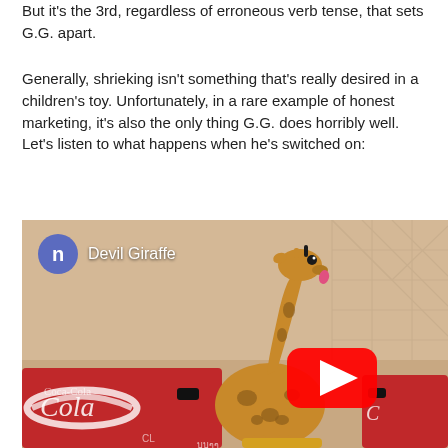But it's the 3rd, regardless of erroneous verb tense, that sets G.G. apart.
Generally, shrieking isn't something that's really desired in a children's toy. Unfortunately, in a rare example of honest marketing, it's also the only thing G.G. does horribly well. Let's listen to what happens when he's switched on:
[Figure (screenshot): YouTube video thumbnail showing a giraffe toy (stuffed/mechanical) positioned in front of red Coca-Cola boxes. The video is titled 'Devil Giraffe' with a channel icon showing the letter 'n' in a blue circle. A red YouTube play button is visible in the lower center of the thumbnail.]